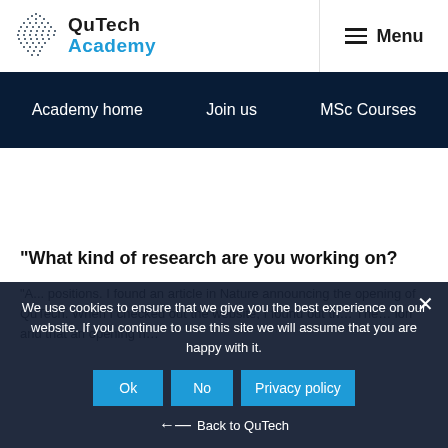[Figure (logo): QuTech Academy logo with dotted sphere graphic and text 'QuTech Academy']
Menu
Academy home   Join us   MSc Courses
What kind of research are you working on?
"A... positions. I found an article in Nature announcing the opening of QuTech. When I checked out the website, I found out th... The... ion and that an opening h...
We use cookies to ensure that we give you the best experience on our website. If you continue to use this site we will assume that you are happy with it.
Ok   No   Privacy policy
← Back to QuTech